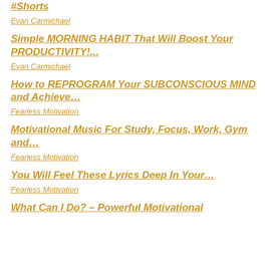#Shorts
Evan Carmichael
Simple MORNING HABIT That Will Boost Your PRODUCTIVITY!...
Evan Carmichael
How to REPROGRAM Your SUBCONSCIOUS MIND and Achieve…
Fearless Motivation
Motivational Music For Study, Focus, Work, Gym and…
Fearless Motivation
You Will Feel These Lyrics Deep In Your…
Fearless Motivation
What Can I Do? – Powerful Motivational